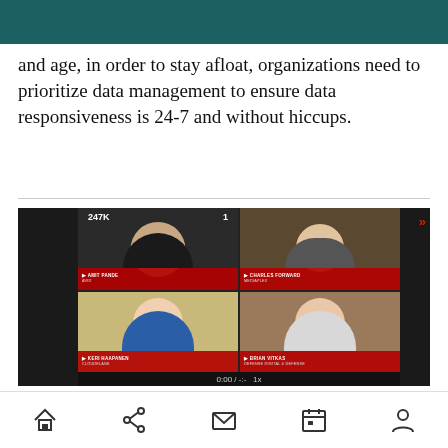and age, in order to stay afloat, organizations need to prioritize data management to ensure data responsiveness is 24-7 and without hiccups.
[Figure (screenshot): A video panel screenshot showing four participants in a video call. Top-left shows a person with dark hair and dark shirt (AMIT PANDE, AVID) with badges showing 247K and 1. Top-right shows an older man in front of bookshelves (CHARLES FORWARD, MEDIAPLEX). Bottom-left shows a blonde woman in a blue shirt (KERI HAAPANEN, CLOUDELANE). Bottom-right shows a bald man with glasses in a white shirt (BRIAN VITKAS, DEFENSE DIGITAL & DEFENSE). A >> arrow button appears in the top right corner. Playback shows 0:00 / -:- 1x.]